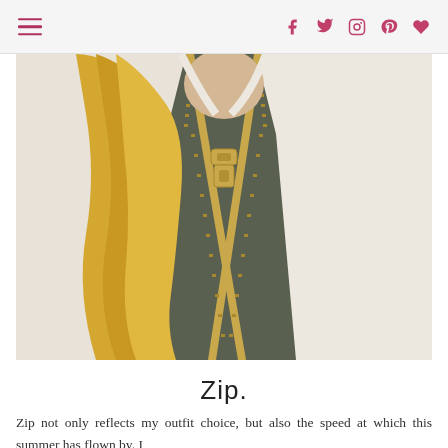☰  f  🐦  📷  Pinterest  ♥
[Figure (photo): Close-up photo of a woman with blonde hair wearing a cream/white jacket with gold zipper over a dark olive green top. The zipper is prominently visible and partially unzipped, showing the gold zipper pull.]
Zip.
Zip not only reflects my outfit choice, but also the speed at which this summer has flown by. I